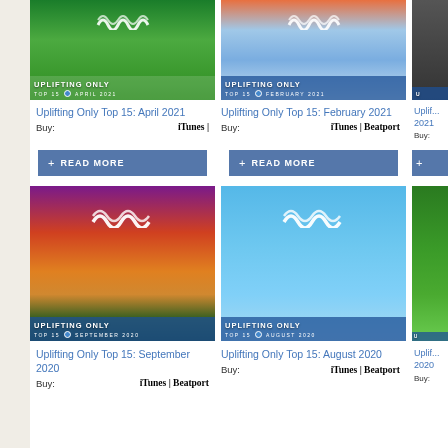[Figure (photo): Album art for Uplifting Only Top 15: April 2021 - green fields and tree]
[Figure (photo): Album art for Uplifting Only Top 15: February 2021 - snowy mountain/ice]
[Figure (photo): Album art for third album top row - partially visible dark cover]
Uplifting Only Top 15: April 2021
Buy:    iTunes |
Uplifting Only Top 15: February 2021
Buy:    iTunes | Beatport
Uplif... 2021
Buy:
+ READ MORE
+ READ MORE
+
[Figure (photo): Album art for Uplifting Only Top 15: September 2020 - waterfall/sunset landscape]
[Figure (photo): Album art for Uplifting Only Top 15: August 2020 - pink magnolia flower on blue background]
[Figure (photo): Album art for third album bottom row - green nature partially visible]
Uplifting Only Top 15: September 2020
Buy:    iTunes | Beatport
Uplifting Only Top 15: August 2020
Buy:    iTunes | Beatport
Uplif... 2020
Buy: